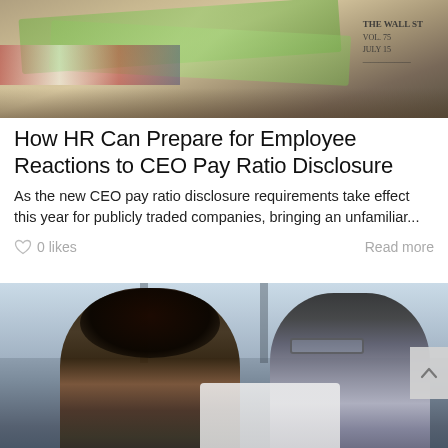[Figure (photo): Close-up photo of money/newspapers with American flag, suggesting financial news context]
How HR Can Prepare for Employee Reactions to CEO Pay Ratio Disclosure
As the new CEO pay ratio disclosure requirements take effect this year for publicly traded companies, bringing an unfamiliar...
♡ 0 likes
Read more
[Figure (photo): Photo of two professionals, a woman and a man wearing glasses, reviewing a document together in an office setting]